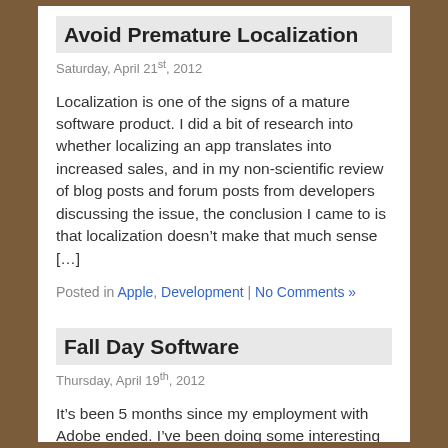Avoid Premature Localization
Saturday, April 21st, 2012
Localization is one of the signs of a mature software product. I did a bit of research into whether localizing an app translates into increased sales, and in my non-scientific review of blog posts and forum posts from developers discussing the issue, the conclusion I came to is that localization doesn’t make that much sense […]
Posted in Apple, Development | No Comments »
Fall Day Software
Thursday, April 19th, 2012
It’s been 5 months since my employment with Adobe ended. I’ve been doing some interesting contracting work since then, but also putting some effort into my own independent iPhone and iPad apps. That’s been a lot of fun. I started a company called